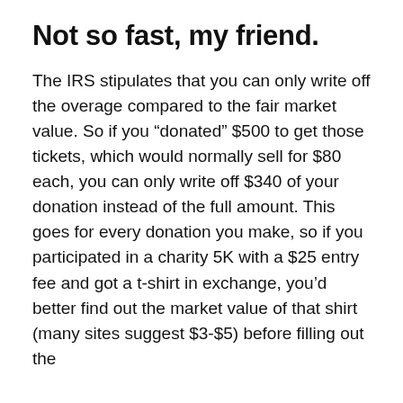Not so fast, my friend.
The IRS stipulates that you can only write off the overage compared to the fair market value. So if you “donated” $500 to get those tickets, which would normally sell for $80 each, you can only write off $340 of your donation instead of the full amount. This goes for every donation you make, so if you participated in a charity 5K with a $25 entry fee and got a t-shirt in exchange, you’d better find out the market value of that shirt (many sites suggest $3-$5) before filling out the Schedule A on your Form 1040.